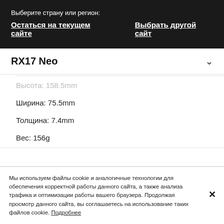Выберите страну или регион:
Остаться на текущем сайте    Выбрать другой сайт
RX17 Neo
Высота: 158.5mm
Ширина: 75.5mm
Толщина: 7.4mm
Вес: 156g
Мы используем файлы cookie и аналогичные технологии для обеспечения корректной работы данного сайта, а также анализа трафика и оптимизации работы вашего браузера. Продолжая просмотр данного сайта, вы соглашаетесь на использование таких файлов cookie. Подробнее